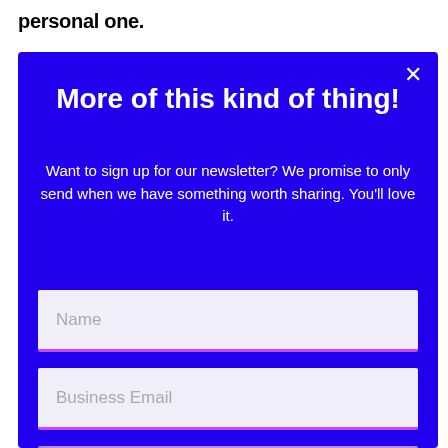personal one.
More of this kind of thing!
Want to sign up for our newsletter? We promise to only send when we have something worth sharing. You'll love it.
Name
Business Email
Sign Up
Your data is rock solid safe.